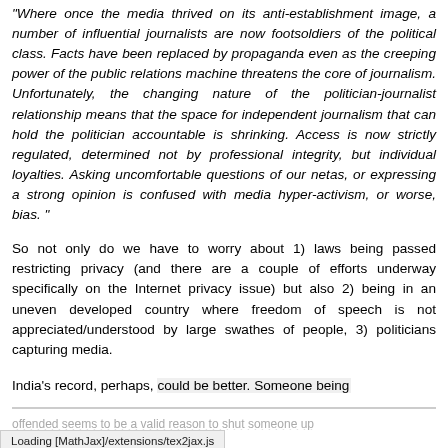"Where once the media thrived on its anti-establishment image, a number of influential journalists are now footsoldiers of the political class. Facts have been replaced by propaganda even as the creeping power of the public relations machine threatens the core of journalism. Unfortunately, the changing nature of the politician-journalist relationship means that the space for independent journalism that can hold the politician accountable is shrinking. Access is now strictly regulated, determined not by professional integrity, but individual loyalties. Asking uncomfortable questions of our netas, or expressing a strong opinion is confused with media hyper-activism, or worse, bias. "
So not only do we have to worry about 1) laws being passed restricting privacy (and there are a couple of efforts underway specifically on the Internet privacy issue) but also 2) being in an uneven developed country where freedom of speech is not appreciated/understood by large swathes of people, 3) politicians capturing media.
India's record, perhaps, could be better. Someone being offended seems to be a valid reason to shut someone up
Loading [MathJax]/extensions/tex2jax.js